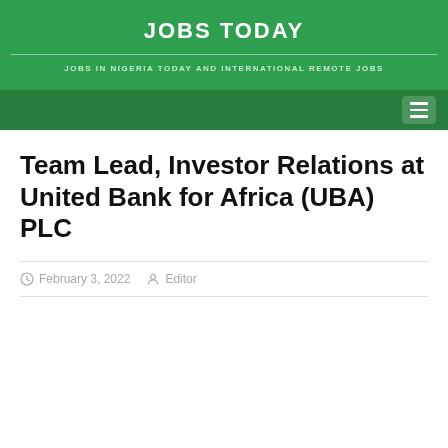JOBS TODAY
JOBS IN NIGERIA TODAY AND INTERNATIONAL REMOTE JOBS
Team Lead, Investor Relations at United Bank for Africa (UBA) PLC
February 3, 2022  Editor